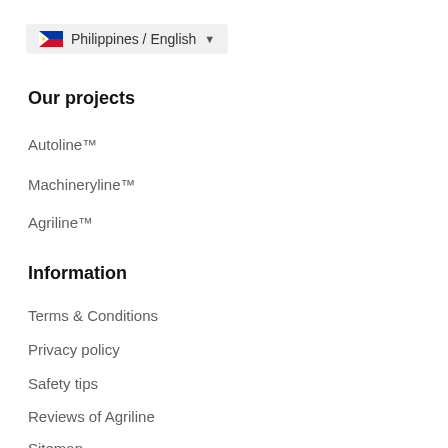Philippines / English
Our projects
Autoline™
Machineryline™
Agriline™
Information
Terms & Conditions
Privacy policy
Safety tips
Reviews of Agriline
Sitemap